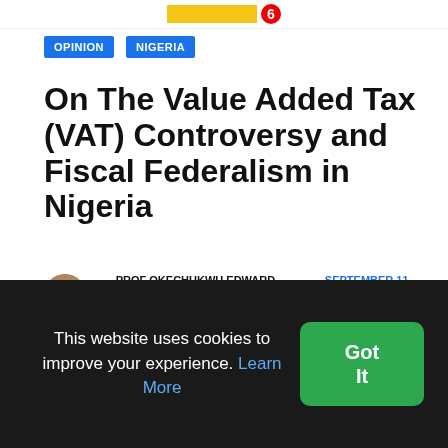THANK OP! 6
OPINION   NIGERIA
On The Value Added Tax (VAT) Controversy and Fiscal Federalism in Nigeria
BY PROF OKECHUKWU EDWARD OKEKE · SEPTEMBER 11, 2021 · 0 COMMENTS
[Figure (photo): Article header photo, blurred background with documents/papers]
This website uses cookies to improve your experience. Learn More Got It